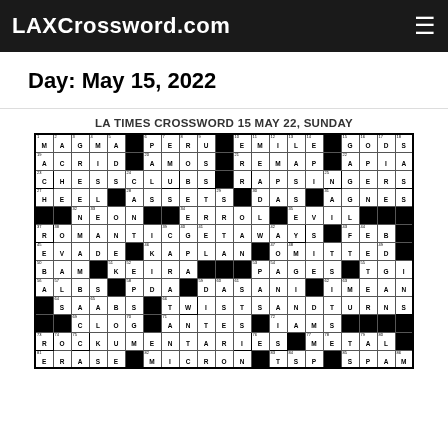LAXCrossword.com
Day: May 15, 2022
LA TIMES CROSSWORD 15 MAY 22, SUNDAY
[Figure (other): Crossword puzzle grid for LA Times Sunday May 15, 2022, showing filled answers including MAGMA, PERU, EMILE, GODS, ACRID, AMOS, REMAP, APIA, CHESSCLUBS, RAPSINGERS, HEEL, ASSETS, DAS, AGNES, NEON, ERROL, EVIL, ROMANTICGETAWAYS, FEB, EVADE, KAPLAN, OMITTED, BAM, KEIRA, PAGES, TGI, ALBS, PDA, DASANI, IMEAN, SAABS, TWISTSANDTURNS, CLOG, ANTES, IAMS, ROCKUMENTARIES, METAL, ERASE, MICRON, TSP, SPAM]